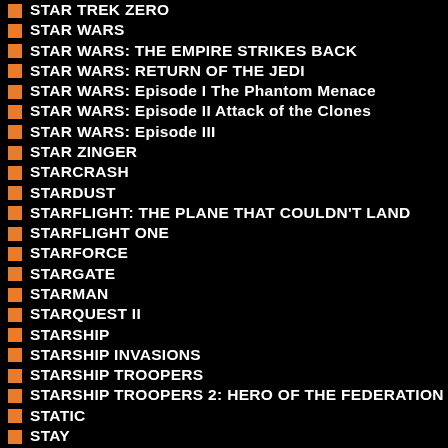STAR TREK ZERO
STAR WARS
STAR WARS: THE EMPIRE STRIKES BACK
STAR WARS: RETURN OF THE JEDI
STAR WARS: Episode I The Phantom Menace
STAR WARS: Episode II Attack of the Clones
STAR WARS: Episode III
STAR ZINGER
STARCRASH
STARDUST
STARFLIGHT: THE PLANE THAT COULDN'T LAND
STARFLIGHT ONE
STARFORCE
STARGATE
STARMAN
STARQUEST II
STARSHIP
STARSHIP INVASIONS
STARSHIP TROOPERS
STARSHIP TROOPERS 2: HERO OF THE FEDERATION
STATIC
STAY
STAY ALIVE
STAY TUNED
STEALTH
STEAM BOY